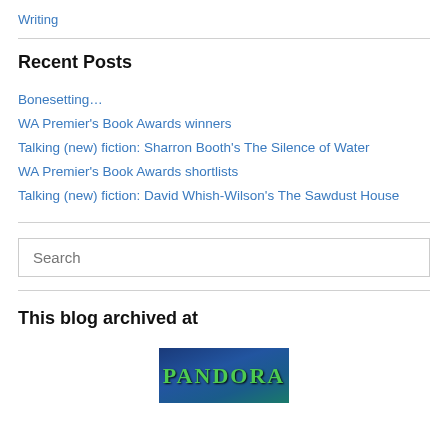Writing
Recent Posts
Bonesetting…
WA Premier's Book Awards winners
Talking (new) fiction: Sharron Booth's The Silence of Water
WA Premier's Book Awards shortlists
Talking (new) fiction: David Whish-Wilson's The Sawdust House
Search
This blog archived at
[Figure (logo): PANDORA logo — green text on blue-green gradient background]